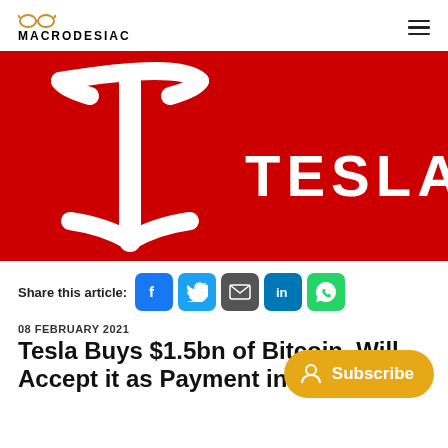MACRODESIAC
[Figure (logo): Tesla logo and wordmark on red background]
Share this article:
08 FEBRUARY 2021
Tesla Buys $1.5bn of Bitcoin, Will Accept it as Payment in the Near